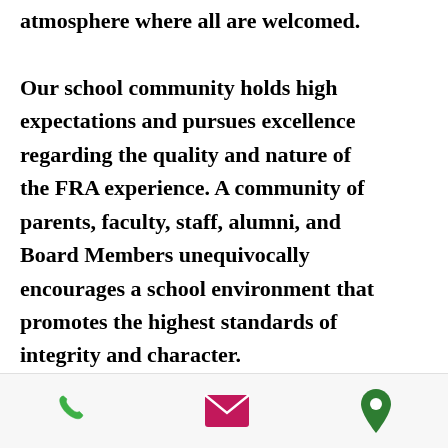atmosphere where all are welcomed. Our school community holds high expectations and pursues excellence regarding the quality and nature of the FRA experience. A community of parents, faculty, staff, alumni, and Board Members unequivocally encourages a school environment that promotes the highest standards of integrity and character.

Let's have the best school year ever!
Go Wildcats!
[Figure (infographic): Footer bar with three icons: green phone icon, magenta/pink email envelope icon, and green location pin icon]